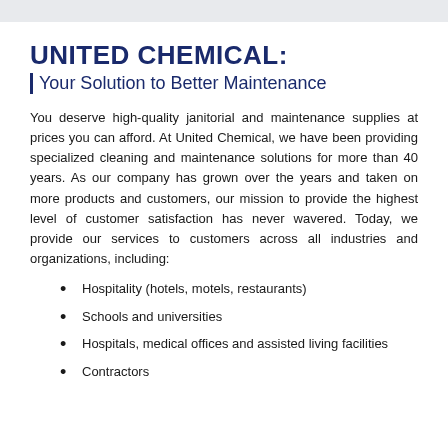UNITED CHEMICAL:
Your Solution to Better Maintenance
You deserve high-quality janitorial and maintenance supplies at prices you can afford. At United Chemical, we have been providing specialized cleaning and maintenance solutions for more than 40 years. As our company has grown over the years and taken on more products and customers, our mission to provide the highest level of customer satisfaction has never wavered. Today, we provide our services to customers across all industries and organizations, including:
Hospitality (hotels, motels, restaurants)
Schools and universities
Hospitals, medical offices and assisted living facilities
Contractors